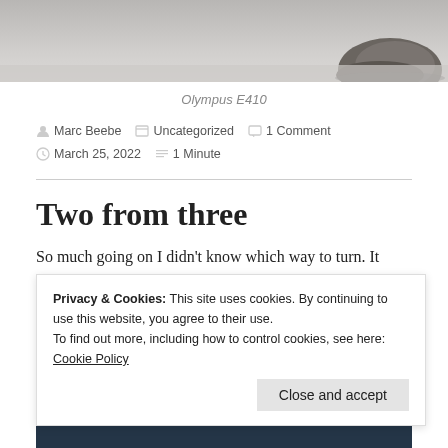[Figure (photo): Black and white photo of a rock or stone on sandy/snowy ground, partially cropped at top]
Olympus E410
Marc Beebe   Uncategorized   1 Comment   March 25, 2022   1 Minute
Two from three
So much going on I didn't know which way to turn. It
Privacy & Cookies: This site uses cookies. By continuing to use this website, you agree to their use.
To find out more, including how to control cookies, see here: Cookie Policy
Close and accept
[Figure (photo): Dark blue/navy photo, partially visible at the very bottom of page]